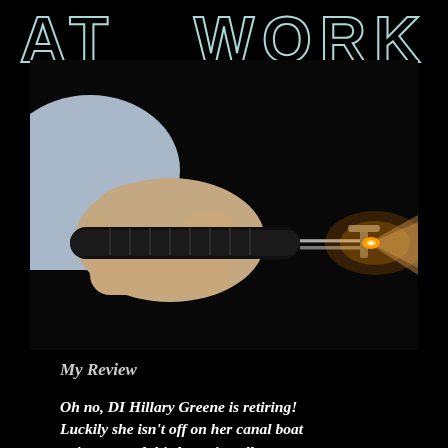AT WORK
[Figure (photo): A hand holding a black cylindrical device (appears to be a stun gun or taser) aimed at a small T-shaped attachment, with an orange spark/flame visible at the tip, against a black background.]
My Review
Oh no, DI Hillary Greene is retiring! Luckily she isn't off on her canal boat quite yet, and this latest installment